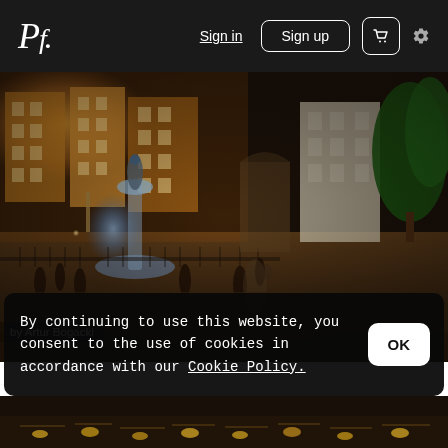Pf. | Sign in | Sign up | Cart | Settings
[Figure (photo): Nighttime photo of a European city square with a glowing blue fountain (Neptune Fountain in Gdansk, Poland), illuminated historic buildings in warm amber tones, green tree on the right, people walking in the square]
by Artur Bogacki
By continuing to use this website, you consent to the use of cookies in accordance with our Cookie Policy.
[Figure (photo): Bottom strip showing a dark nighttime scene with rows of lights along a waterfront or street]